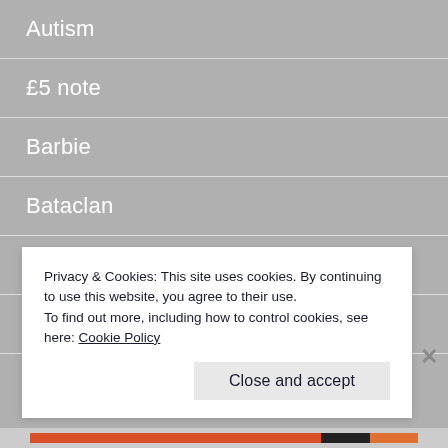Autism
£5 note
Barbie
Bataclan
Bats
Batty Boy
BBQ
Privacy & Cookies: This site uses cookies. By continuing to use this website, you agree to their use.
To find out more, including how to control cookies, see here: Cookie Policy
Close and accept